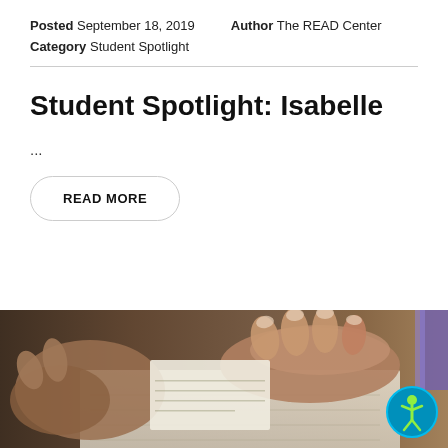Posted September 18, 2019   Author The READ Center
Category Student Spotlight
Student Spotlight: Isabelle
...
READ MORE
[Figure (photo): Close-up photo of hands writing or reading on paper, with an accessibility icon overlay in the bottom right corner]